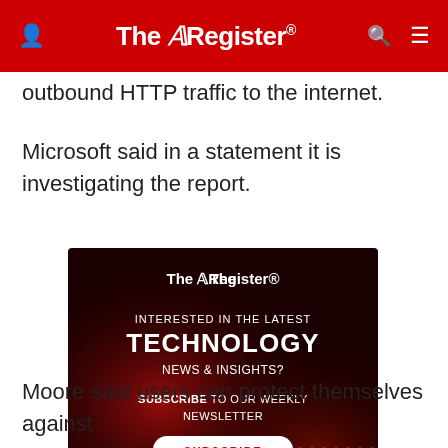The Register
outbound HTTP traffic to the internet.
Microsoft said in a statement it is investigating the report.
[Figure (infographic): The Register advertisement banner: dark red background with bokeh light effects. Shows The Register logo at top, text 'INTERESTED IN THE LATEST TECHNOLOGY NEWS & INSIGHTS? SUBSCRIBE TO OUR WEEKLY NEWSLETTER' with a white Subscribe button at the bottom.]
Moore said users can protect themselves against